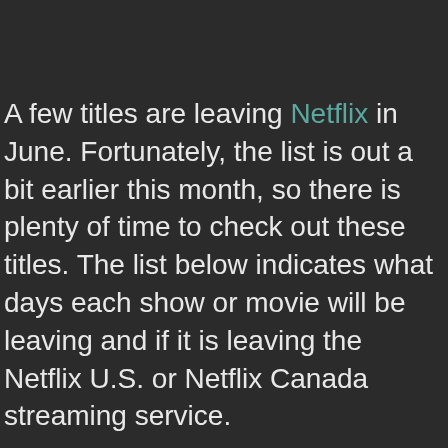A few titles are leaving Netflix in June. Fortunately, the list is out a bit earlier this month, so there is plenty of time to check out these titles. The list below indicates what days each show or movie will be leaving and if it is leaving the Netflix U.S. or Netflix Canada streaming service.
Estimated reading time: 2 minutes
In both the U.S. and Canada, it's your last chance to